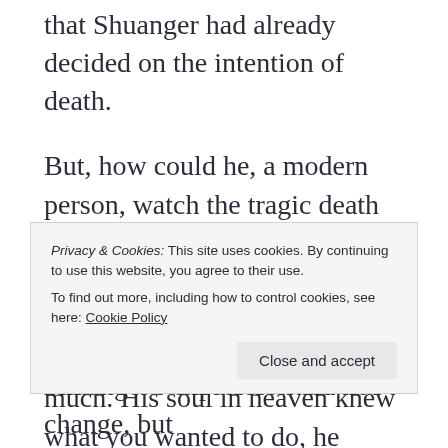that Shuanger had already decided on the intention of death.
But, how could he, a modern person, watch the tragic death in the name of love happen before his eyes, so he quickly tried to comfort her, “Brother Wei…Brother Wei loved you so much. His soul in heaven knew what you wanted to do, he probably
Privacy & Cookies: This site uses cookies. By continuing to use this website, you agree to their use.
To find out more, including how to control cookies, see here: Cookie Policy
Close and accept
Shuanger's expression did not change, but